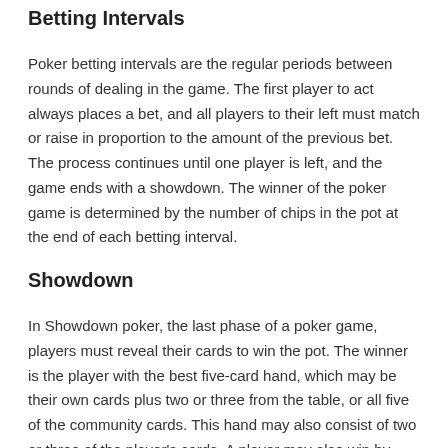Betting Intervals
Poker betting intervals are the regular periods between rounds of dealing in the game. The first player to act always places a bet, and all players to their left must match or raise in proportion to the amount of the previous bet. The process continues until one player is left, and the game ends with a showdown. The winner of the poker game is determined by the number of chips in the pot at the end of each betting interval.
Showdown
In Showdown poker, the last phase of a poker game, players must reveal their cards to win the pot. The winner is the player with the best five-card hand, which may be their own cards plus two or three from the table, or all five of the community cards. This hand may also consist of two or three of the player's cards. A player may also win by having the best